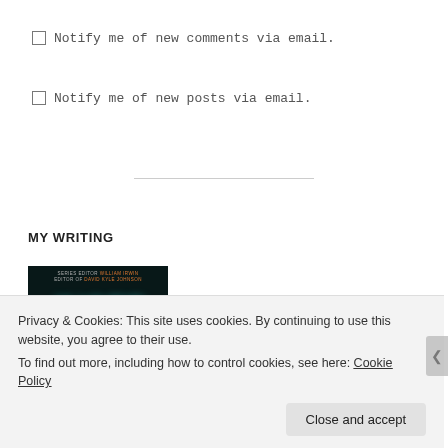Notify me of new comments via email.
Notify me of new posts via email.
MY WRITING
[Figure (photo): Book cover with dark background showing 'INCEPTION' in teal letters, with editor credits for William Irwin and David Kyle Johnson]
Privacy & Cookies: This site uses cookies. By continuing to use this website, you agree to their use.
To find out more, including how to control cookies, see here: Cookie Policy
Close and accept